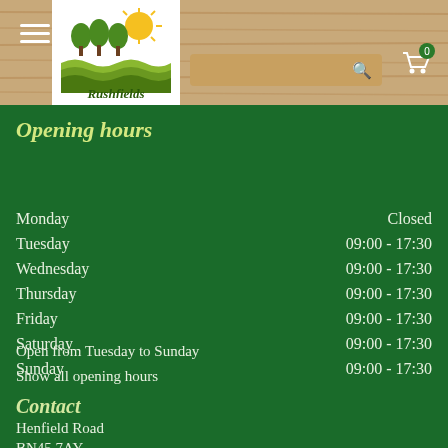[Figure (logo): Rushfields garden centre logo with trees and sun, on white background within wood-textured header]
Opening hours
| Day | Hours |
| --- | --- |
| Monday | Closed |
| Tuesday | 09:00 - 17:30 |
| Wednesday | 09:00 - 17:30 |
| Thursday | 09:00 - 17:30 |
| Friday | 09:00 - 17:30 |
| Saturday | 09:00 - 17:30 |
| Sunday | 09:00 - 17:30 |
Open from Tuesday to Sunday
Show all opening hours
Contact
Henfield Road
BN45 7AY